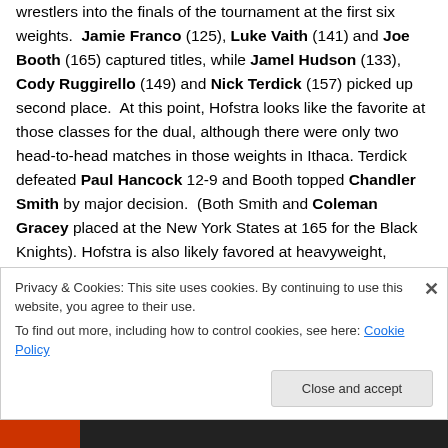wrestlers into the finals of the tournament at the first six weights. Jamie Franco (125), Luke Vaith (141) and Joe Booth (165) captured titles, while Jamel Hudson (133), Cody Ruggirello (149) and Nick Terdick (157) picked up second place. At this point, Hofstra looks like the favorite at those classes for the dual, although there were only two head-to-head matches in those weights in Ithaca. Terdick defeated Paul Hancock 12-9 and Booth topped Chandler Smith by major decision. (Both Smith and Coleman Gracey placed at the New York States at 165 for the Black Knights). Hofstra is also likely favored at heavyweight,
Privacy & Cookies: This site uses cookies. By continuing to use this website, you agree to their use. To find out more, including how to control cookies, see here: Cookie Policy
Close and accept